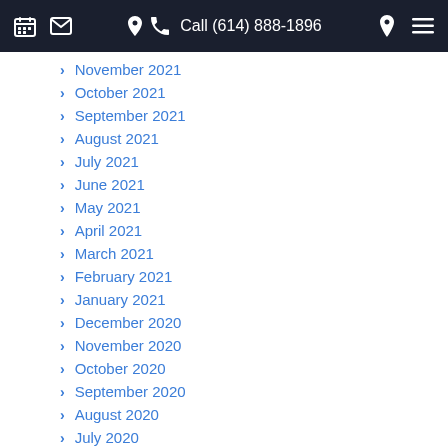Call (614) 888-1896
November 2021
October 2021
September 2021
August 2021
July 2021
June 2021
May 2021
April 2021
March 2021
February 2021
January 2021
December 2020
November 2020
October 2020
September 2020
August 2020
July 2020
June 2020
May 2020